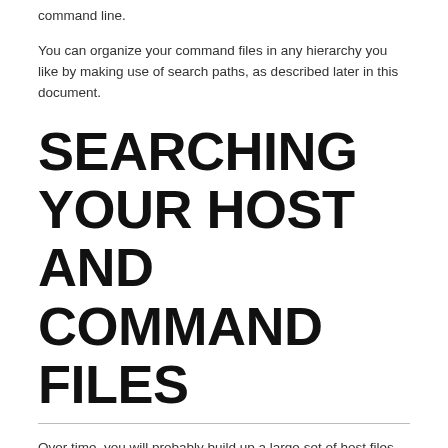command line.
You can organize your command files in any hierarchy you like by making use of search paths, as described later in this document.
SEARCHING YOUR HOST AND COMMAND FILES
Over time, you will probably build up a large set of host files for describing your inventory and command files for standard jobs you run often. It's convenient to search through them quickly when you're looking for something specific.